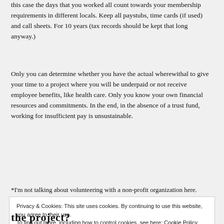this case the days that you worked all count towards your membership requirements in different locals. Keep all paystubs, time cards (if used) and call sheets. For 10 years (tax records should be kept that long anyway.)
Only you can determine whether you have the actual wherewithal to give your time to a project where you will be underpaid or not receive employee benefits, like health care. Only you know your own financial resources and commitments. In the end, in the absence of a trust fund, working for insufficient pay is unsustainable.
*I'm not talking about volunteering with a non-profit organization here.
Privacy & Cookies: This site uses cookies. By continuing to use this website, you agree to their use.
To find out more, including how to control cookies, see here: Cookie Policy
the project?